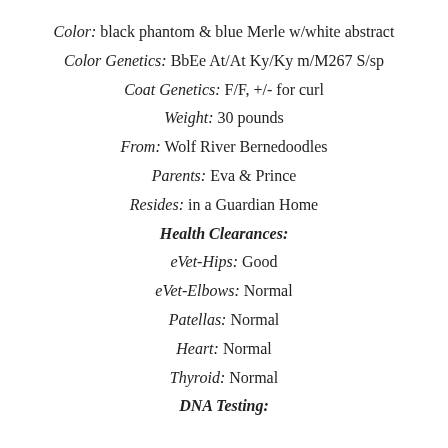Color: black phantom & blue Merle w/white abstract
Color Genetics: BbEe At/At Ky/Ky m/M267 S/sp
Coat Genetics: F/F, +/- for curl
Weight: 30 pounds
From: Wolf River Bernedoodles
Parents: Eva & Prince
Resides: in a Guardian Home
Health Clearances:
eVet-Hips: Good
eVet-Elbows: Normal
Patellas: Normal
Heart: Normal
Thyroid: Normal
DNA Testing: